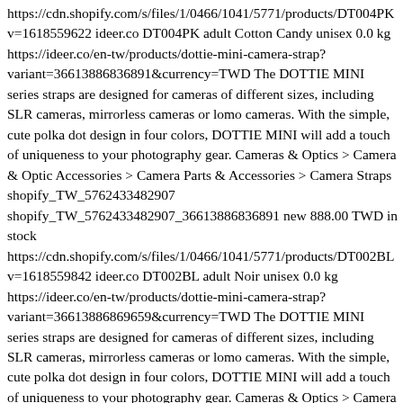https://cdn.shopify.com/s/files/1/0466/1041/5771/products/DT004PK v=1618559622 ideer.co DT004PK adult Cotton Candy unisex 0.0 kg https://ideer.co/en-tw/products/dottie-mini-camera-strap?variant=36613886836891&currency=TWD The DOTTIE MINI series straps are designed for cameras of different sizes, including SLR cameras, mirrorless cameras or lomo cameras. With the simple, cute polka dot design in four colors, DOTTIE MINI will add a touch of uniqueness to your photography gear. Cameras & Optics > Camera & Optic Accessories > Camera Parts & Accessories > Camera Straps shopify_TW_5762433482907 shopify_TW_5762433482907_36613886836891 new 888.00 TWD in stock https://cdn.shopify.com/s/files/1/0466/1041/5771/products/DT002BL v=1618559842 ideer.co DT002BL adult Noir unisex 0.0 kg https://ideer.co/en-tw/products/dottie-mini-camera-strap?variant=36613886869659&currency=TWD The DOTTIE MINI series straps are designed for cameras of different sizes, including SLR cameras, mirrorless cameras or lomo cameras. With the simple, cute polka dot design in four colors, DOTTIE MINI will add a touch of uniqueness to your photography gear. Cameras & Optics > Camera & Optic Accessories > Camera Parts & Accessories > Camera Straps shopify_TW_5762433482907 shopify_TW_5762433482907_36613886869659 new 888.00 TWD in stock https://cdn.shopify.com/s/files/1/0466/1041/5771/products/DT002BL